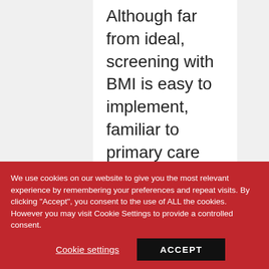Although far from ideal, screening with BMI is easy to implement, familiar to primary care doctors, and would at least get treatment to
We use cookies on our website to give you the most relevant experience by remembering your preferences and repeat visits. By clicking "Accept", you consent to the use of ALL the cookies. However you may visit Cookie Settings to provide a controlled consent.
Cookie settings
ACCEPT